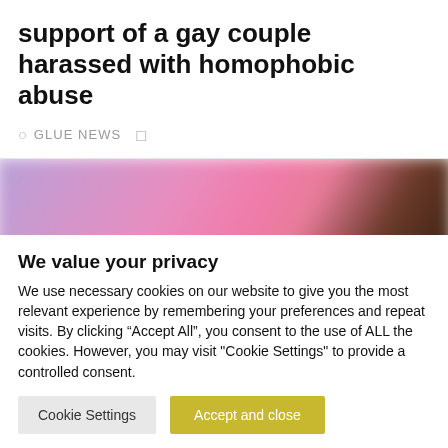support of a gay couple harassed with homophobic abuse
GLUE NEWS
[Figure (photo): Blurred/pixelated photograph with pink and purple tones, showing indistinct figures, privacy-obscured image]
We value your privacy
We use necessary cookies on our website to give you the most relevant experience by remembering your preferences and repeat visits. By clicking “Accept All”, you consent to the use of ALL the cookies. However, you may visit "Cookie Settings" to provide a controlled consent.
Cookie Settings  Accept and close